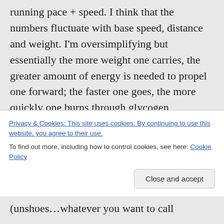running pace + speed. I think that the numbers fluctuate with base speed, distance and weight. I'm oversimplifying but essentially the more weight one carries, the greater amount of energy is needed to propel one forward; the faster one goes, the more quickly one burns through glycogen, therefore to be able to complete longer distances with greater weight, one must run more slowly to burn through one's glycogen stores – at least, that's my limited
Privacy & Cookies: This site uses cookies. By continuing to use this website, you agree to their use.
To find out more, including how to control cookies, see here: Cookie Policy
(unshoes…whatever you want to call